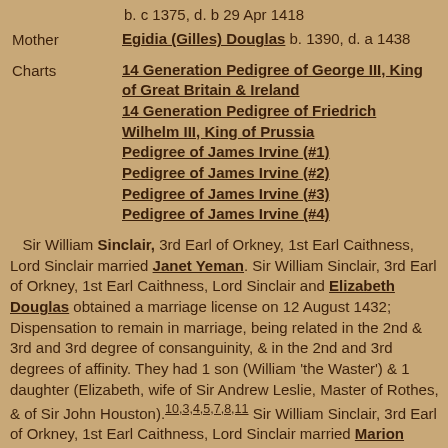b. c 1375, d. b 29 Apr 1418
Mother  Egidia (Gilles) Douglas b. 1390, d. a 1438
Charts  14 Generation Pedigree of George III, King of Great Britain & Ireland
14 Generation Pedigree of Friedrich Wilhelm III, King of Prussia
Pedigree of James Irvine (#1)
Pedigree of James Irvine (#2)
Pedigree of James Irvine (#3)
Pedigree of James Irvine (#4)
Sir William Sinclair, 3rd Earl of Orkney, 1st Earl Caithness, Lord Sinclair married Janet Yeman. Sir William Sinclair, 3rd Earl of Orkney, 1st Earl Caithness, Lord Sinclair and Elizabeth Douglas obtained a marriage license on 12 August 1432; Dispensation to remain in marriage, being related in the 2nd & 3rd and 3rd degree of consanguinity, & in the 2nd and 3rd degrees of affinity. They had 1 son (William 'the Waster') & 1 daughter (Elizabeth, wife of Sir Andrew Leslie, Master of Rothes, & of Sir John Houston). [10,3,4,5,7,8,11] Sir William Sinclair, 3rd Earl of Orkney, 1st Earl Caithness, Lord Sinclair married Marion (Mary) Sutherland, daughter of Alexander